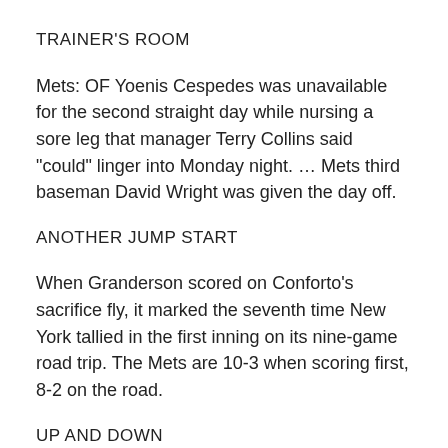TRAINER'S ROOM
Mets: OF Yoenis Cespedes was unavailable for the second straight day while nursing a sore leg that manager Terry Collins said "could" linger into Monday night. … Mets third baseman David Wright was given the day off.
ANOTHER JUMP START
When Granderson scored on Conforto's sacrifice fly, it marked the seventh time New York tallied in the first inning on its nine-game road trip. The Mets are 10-3 when scoring first, 8-2 on the road.
UP AND DOWN
To make room on the roster for Blair, the Braves...